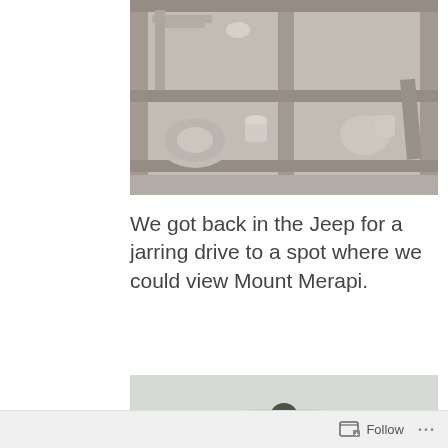[Figure (photo): Ash-covered wooden shelf unit with dishes, plates, and cups coated in volcanic ash, viewed from above at an angle. The wood is weathered and grey, and all items on the shelves are dusted with light grey volcanic ash.]
We got back in the Jeep for a jarring drive to a spot where we could view Mount Merapi.
[Figure (photo): Several people wearing blue and dark helmets riding in the back of a jeep or open vehicle, viewed from behind. The background shows a misty, foggy landscape with trees, suggesting a mountainous area.]
Follow ...